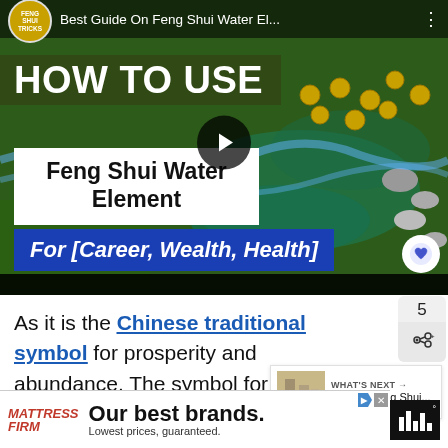[Figure (screenshot): YouTube video thumbnail for 'Best Guide On Feng Shui Water El...' showing a water feature with coins, moss and stones. Overlaid text: 'How To Use', 'Feng Shui Water Element', 'For [Career, Wealth, Health]'. Play button visible in center.]
As it is the Chinese traditional symbol for prosperity and abundance. The symbol for income is flowing water which can or a pond.
[Figure (screenshot): What's Next panel showing: 'WHAT'S NEXT → Best 21 Feng Shui...' with a small thumbnail image]
[Figure (screenshot): Advertisement for Mattress Firm: 'Our best brands. Lowest prices, guaranteed.']